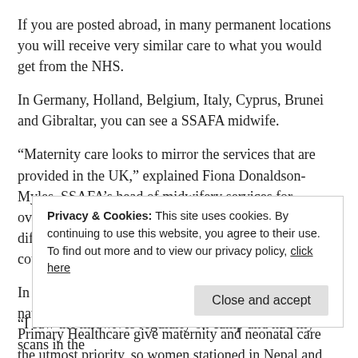If you are posted abroad, in many permanent locations you will receive very similar care to what you would get from the NHS.
In Germany, Holland, Belgium, Italy, Cyprus, Brunei and Gibraltar, you can see a SSAFA midwife.
“Maternity care looks to mirror the services that are provided in the UK,” explained Fiona Donaldson-Myles, SSAFA’s head of midwifery services for overseas commands. “Our midwives explain the different birthing and screening options, offer parenting courses and carry out antenatal and postnatal care.”
In some more remote locations, there is only home nation medical support. The British Army and Defence Primary Healthcare give maternity and neonatal care the utmost priority, so women stationed in Nepal and Kenya must return to the UK b
Privacy & Cookies: This site uses cookies. By continuing to use this website, you agree to their use. To find out more and to view our privacy policy, click here
“I saw the midwives regularly on camp and had my scans in the